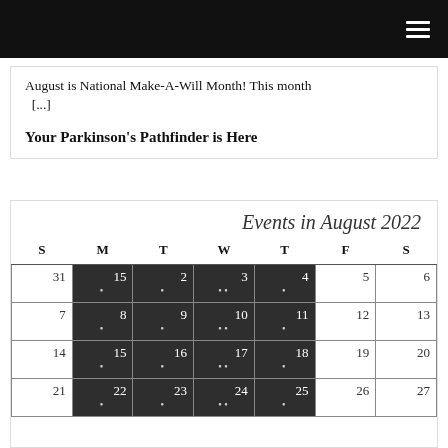(navigation bar with hamburger menu)
August is National Make-A-Will Month! This month [...]
Your Parkinson's Pathfinder is Here
| S | M | T | W | T | F | S |
| --- | --- | --- | --- | --- | --- | --- |
| 31 | 1 • | 2 • | 3 •• | 4 • | 5 | 6 |
| 7 | 8 • | 9 • | 10 •• | 11 • | 12 | 13 |
| 14 | 15 • | 16 • | 17 •• | 18 • | 19 | 20 |
| 21 | 22 • | 23 • | 24 •• | 25 • | 26 | 27 |